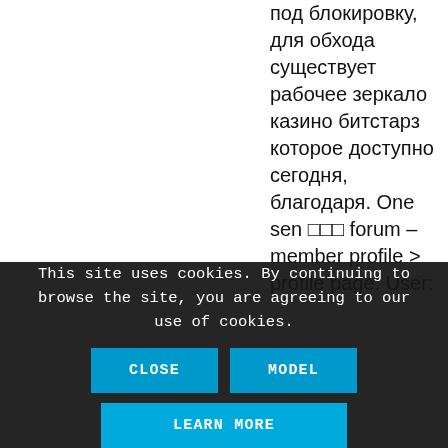под блокировку, для обхода существует рабочее зеркало казино битстарз которое доступно сегодня, благодаря. One sen ??? forum – member profile > profile page. User:
This site uses cookies. By continuing to browse the site, you are agreeing to our use of cookies.
CLOSE
MODEL
LEARN MORE